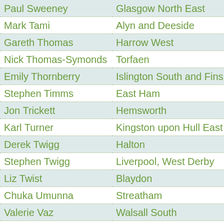| Name | Constituency |
| --- | --- |
| Paul Sweeney | Glasgow North East |
| Mark Tami | Alyn and Deeside |
| Gareth Thomas | Harrow West |
| Nick Thomas-Symonds | Torfaen |
| Emily Thornberry | Islington South and Fins... |
| Stephen Timms | East Ham |
| Jon Trickett | Hemsworth |
| Karl Turner | Kingston upon Hull East |
| Derek Twigg | Halton |
| Stephen Twigg | Liverpool, West Derby |
| Liz Twist | Blaydon |
| Chuka Umunna | Streatham |
| Valerie Vaz | Walsall South |
| Thelma Walker | Colne Valley |
| Tom Watson | West Bromwich East |
| Catherine West | Hornsey and Wood Gree... |
| Matt Western | Warwick and Leamingto... |
| Alan Whitehead | Southampton, Test |